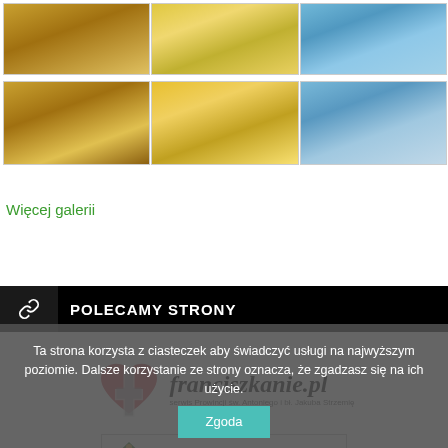[Figure (photo): Gallery row 1: church interior with people in white, outdoor market/craft fair scene, person jumping over rooftops]
[Figure (photo): Gallery row 2: church interior with congregation, colorful market stall with people, city rooftops with person in mid-air]
Więcej galerii
POLECAMY STRONY
[Figure (logo): franciszkanie.pl logo with heart/cross symbol - serwis Prowincji św. Antoniego i bł. Jakuba Strzemię]
[Figure (logo): Archidiecezja Przemyska logo with church icon]
Ta strona korzysta z ciasteczek aby świadczyć usługi na najwyższym poziomie. Dalsze korzystanie ze strony oznacza, że zgadzasz się na ich użycie.